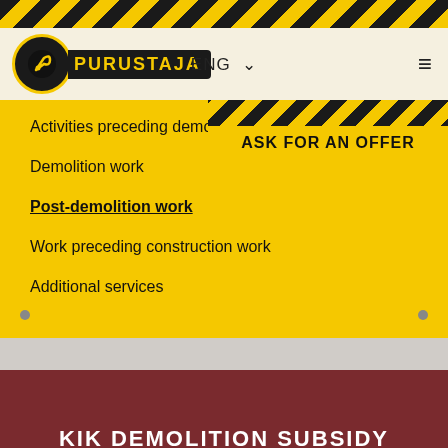[Figure (other): Hazard stripe top bar yellow and black diagonal stripes]
[Figure (logo): Purustaja logo: black circle with key icon, black box with yellow PURUSTAJA text]
ENG ∨
Activities preceding demolition work
ASK FOR AN OFFER
Demolition work
Post-demolition work
Work preceding construction work
Additional services
KIK DEMOLITION SUBSIDY